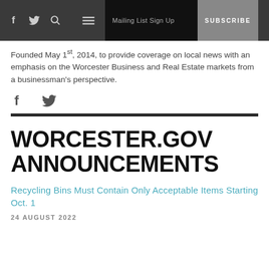f  twitter  search  menu  | Mailing List Sign Up  SUBSCRIBE
Founded May 1st, 2014, to provide coverage on local news with an emphasis on the Worcester Business and Real Estate markets from a businessman's perspective.
WORCESTER.GOV ANNOUNCEMENTS
Recycling Bins Must Contain Only Acceptable Items Starting Oct. 1
24 AUGUST 2022